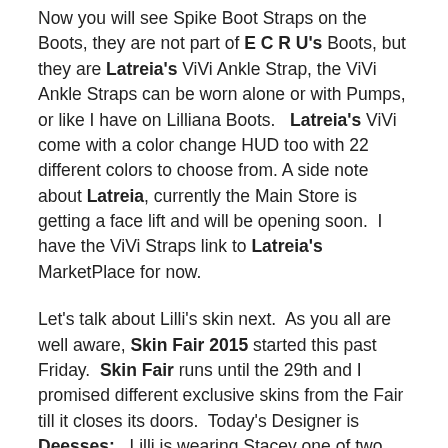Now you will see Spike Boot Straps on the Boots, they are not part of E C R U's Boots, but they are Latreia's ViVi Ankle Strap, the ViVi Ankle Straps can be worn alone or with Pumps, or like I have on Lilliana Boots.   Latreia's ViVi come with a color change HUD too with 22 different colors to choose from. A side note about Latreia, currently the Main Store is getting a face lift and will be opening soon.  I have the ViVi Straps link to Latreia's MarketPlace for now.
Let's talk about Lilli's skin next.  As you all are well aware, Skin Fair 2015 started this past Friday.  Skin Fair runs until the 29th and I promised different exclusive skins from the Fair till it closes its doors.  Today's Designer is Deesses:.  Lilli is wearing Stacey one of two New Exclusive by Deesses:.  Lilli is wearing the Skin Base #3 in the Ice Frappe Skin Tone, with the Cleavage V1